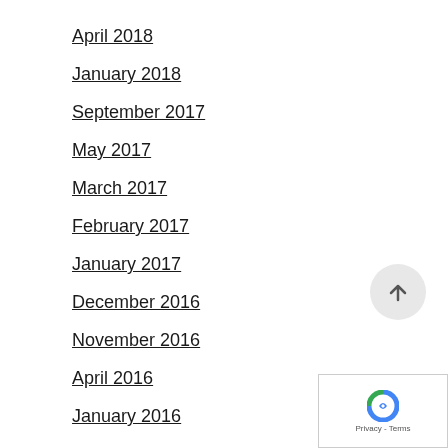April 2018
January 2018
September 2017
May 2017
March 2017
February 2017
January 2017
December 2016
November 2016
April 2016
January 2016